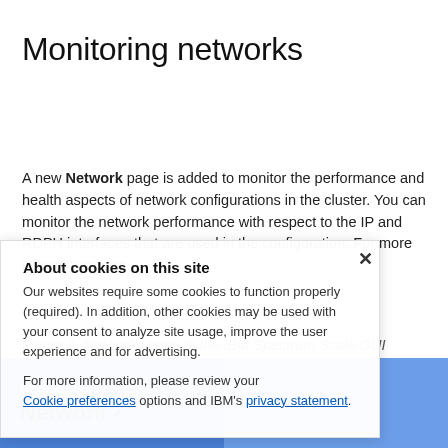Monitoring networks
A new Network page is added to monitor the performance and health aspects of network configurations in the cluster. You can monitor the network performance with respect to the IP and RDPH interfaces that are used in the configuration. For more information, see
Figure 1. Networks page in the IBM Spectrum Scale GUI
About cookies on this site
Our websites require some cookies to function properly (required). In addition, other cookies may be used with your consent to analyze site usage, improve the user experience and for advertising.
For more information, please review your Cookie preferences options and IBM's privacy statement.
Required only
Network
Accept all